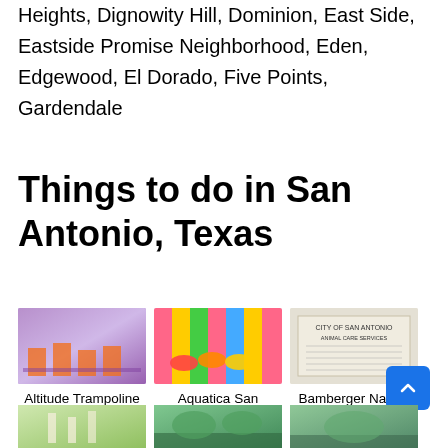Heights, Dignowity Hill, Dominion, East Side, Eastside Promise Neighborhood, Eden, Edgewood, El Dorado, Five Points, Gardendale
Things to do in San Antonio, Texas
[Figure (photo): Photo of Altitude Trampoline Park interior showing trampolines and purple/orange decor]
Altitude Trampoline Park
[Figure (photo): Photo of Aquatica San Antonio water slides with colorful stripes]
Aquatica San Antonio
[Figure (photo): Photo of Bamberger Nature Park sign or document]
Bamberger Nature Park
[Figure (photo): Partial bottom row image 1 - colorful attraction]
[Figure (photo): Partial bottom row image 2 - green nature scene]
[Figure (photo): Partial bottom row image 3 - green park scene]